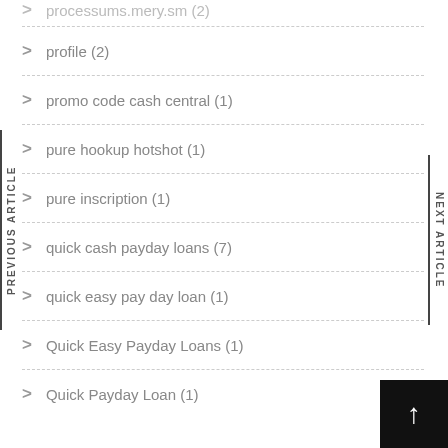profile (2)
promo code cash central (1)
pure hookup hotshot (1)
pure inscription (1)
quick cash payday loans (7)
quick easy pay day loan (1)
Quick Easy Payday Loans (1)
Quick Payday Loan (1)